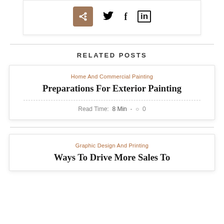[Figure (other): Share button icons: a brown share button box, Twitter bird icon, Facebook f icon, LinkedIn in icon]
RELATED POSTS
Home And Commercial Painting
Preparations For Exterior Painting
Read Time:  8 Min  -  ○  0
Graphic Design And Printing
Ways To Drive More Sales To